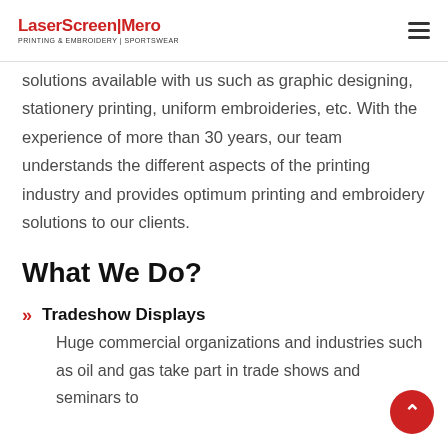LaserScreen|Mero PRINTING & EMBROIDERY | SPORTSWEAR
solutions available with us such as graphic designing, stationery printing, uniform embroideries, etc. With the experience of more than 30 years, our team understands the different aspects of the printing industry and provides optimum printing and embroidery solutions to our clients.
What We Do?
Tradeshow Displays
Huge commercial organizations and industries such as oil and gas take part in trade shows and seminars to